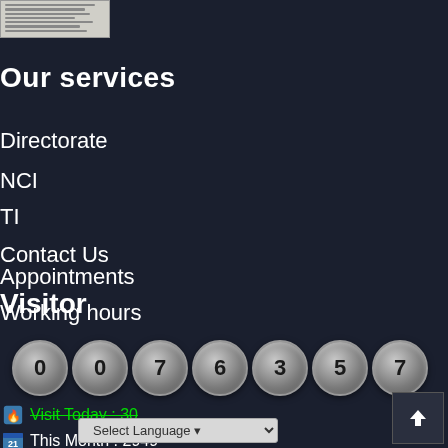[Figure (other): Thumbnail image of a document with Hindi text, light beige background]
Our services
Directorate
NCI
TI
Contact Us
Appointments
Working hours
Visitor
0076357
Visit Today : 30
This Month : 2949